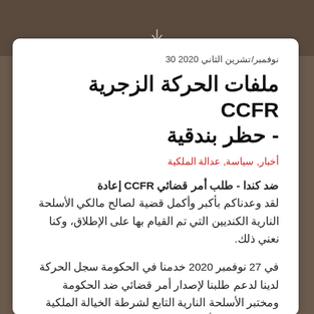نوفمبر/تشرين الثاني 2020 30
ملفات الحركة الزجرية CCFR - حظر بندقية
أخبار, سياسة, عدالة الملكية
ضد كندا - طلب أمر قضائي CCFR إعادة لقد وعدناكم بأكبر وأكمل قضية لصالح مالكي الأسلحة النارية الكنديين التي تم القيام بها على الإطلاق، وكنا نعني ذلك.
في 27 نوفمبر 2020 خدمنا في الحكومة سجل الحركة لدينا لدعم طلبنا لإصدار أمر قضائي ضد الحكومة ومختبر الأسلحة النارية التابع لشرطة الخيالة الملكية الكندية لوقف تأثير وإنفاذ منظمة المؤتمر "FRT الإسلامي و "الحظر من قبل